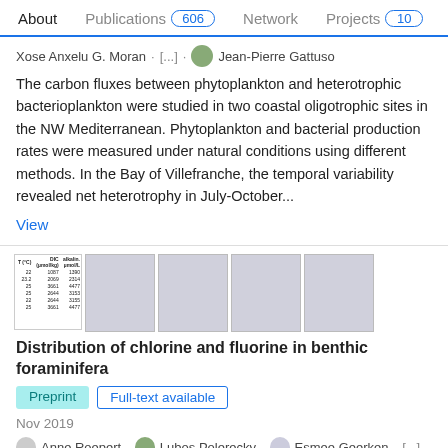About   Publications 606   Network   Projects 10
Xose Anxelu G. Moran · [...] · Jean-Pierre Gattuso
The carbon fluxes between phytoplankton and heterotrophic bacterioplankton were studied in two coastal oligotrophic sites in the NW Mediterranean. Phytoplankton and bacterial production rates were measured under natural conditions using different methods. In the Bay of Villefranche, the temporal variability revealed net heterotrophy in July-October...
View
[Figure (table-as-image): Small thumbnail showing a data table with columns T(°C), DIC (µmol/kg), alkalinity (µmol/L) and rows with values]
[Figure (photo): Gray placeholder thumbnail image 1]
[Figure (photo): Gray placeholder thumbnail image 2]
[Figure (photo): Gray placeholder thumbnail image 3]
[Figure (photo): Gray placeholder thumbnail image 4]
Distribution of chlorine and fluorine in benthic foraminifera
Preprint   Full-text available
Nov 2019
Anne Roepert · Lubos Polerecky · Esmee Geerken · [...] · Jack. J Middelburg